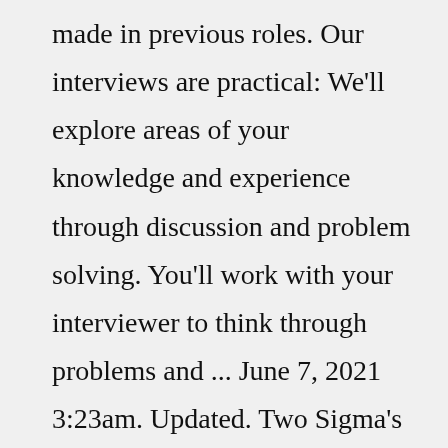made in previous roles. Our interviews are practical: We'll explore areas of your knowledge and experience through discussion and problem solving. You'll work with your interviewer to think through problems and ... June 7, 2021 3:23am. Updated. Two Sigma's headquarters at 101 Sixth Ave. in Tribeca William C. Lopez. Technology-driven hedge fund Two Sigma is in the market for a major space expansion